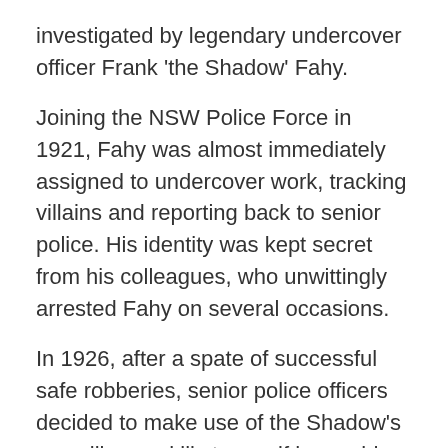investigated by legendary undercover officer Frank 'the Shadow' Fahy.
Joining the NSW Police Force in 1921, Fahy was almost immediately assigned to undercover work, tracking villains and reporting back to senior police. His identity was kept secret from his colleagues, who unwittingly arrested Fahy on several occasions.
In 1926, after a spate of successful safe robberies, senior police officers decided to make use of the Shadow's surveillance skills to see if he could find the criminals responsible. There was one lead – a piece of cloth left at a crime scene had been proven to be sold only in Italy. The Shadow zeroed in on a group of Italians led by engineer Giovanni Lucci. He tracked the gang to a small factory where they